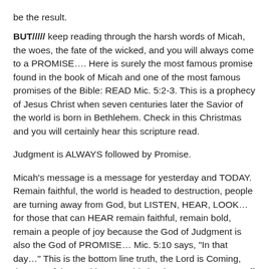be the result.
BUT///// keep reading through the harsh words of Micah, the woes, the fate of the wicked, and you will always come to a PROMISE.... Here is surely the most famous promise found in the book of Micah and one of the most famous promises of the Bible: READ Mic. 5:2-3.  This is a prophecy of Jesus Christ when seven centuries later the Savior of the world is born in Bethlehem.  Check in this Christmas and you will certainly hear this scripture read.
Judgment is ALWAYS followed by Promise.
Micah’s message is a message for yesterday and TODAY.  Remain faithful, the world is headed to destruction, people are turning away from God, but LISTEN, HEAR, LOOK… for those that can HEAR remain faithful, remain bold, remain a people of joy because the God of Judgment is also the God of PROMISE… Mic. 5:10 says, “In that day…” This is the bottom line truth, the Lord is Coming, the Day of the Lord is near.  This is why we must not put off till tomorrow getting our act together with plans to do better in following God tomorrow.  The lie of